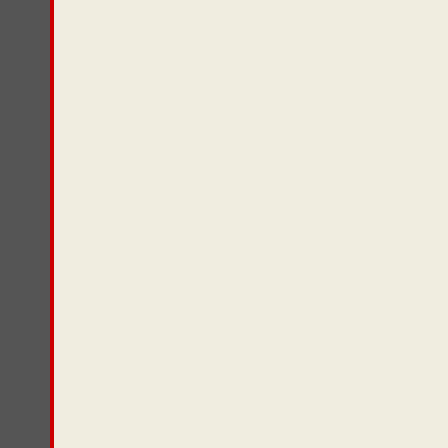» Articles (8,649)
» Arts (1,252)
» Asian Diaspora (1,403)
» Audio (463)
» Autobiography (1,038)
» Barack Obama (717)
» Biography (1,020)
» Book/Video Reviews (731)
» Books (2,076)
» Brazil (512)
» Campus Life (460)
» Canada (465)
» Caribbean/Latin America (1,398)
» Census/Demographics (1,067)
» Chapter (44)
» Communications/Media Studies (486)